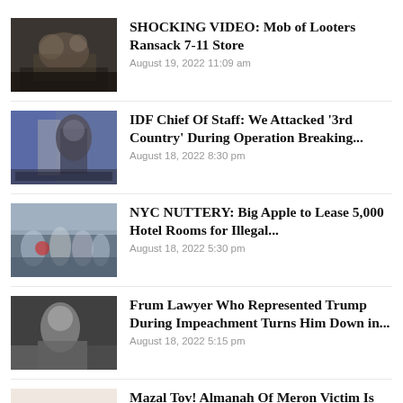[Figure (photo): People inside a store, looting scene]
SHOCKING VIDEO: Mob of Looters Ransack 7-11 Store
August 19, 2022 11:09 am
[Figure (photo): IDF military officer at a podium with flags]
IDF Chief Of Staff: We Attacked '3rd Country' During Operation Breaking...
August 18, 2022 8:30 pm
[Figure (photo): Group of people outdoors, protest scene]
NYC NUTTERY: Big Apple to Lease 5,000 Hotel Rooms for Illegal...
August 18, 2022 5:30 pm
[Figure (photo): Man in a suit, lawyer portrait]
Frum Lawyer Who Represented Trump During Impeachment Turns Him Down in...
August 18, 2022 5:15 pm
[Figure (photo): Close-up of hands with an engagement ring]
Mazal Tov! Almanah Of Meron Victim Is Engaged